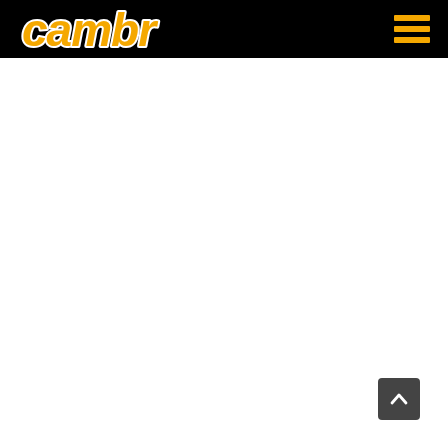[Figure (logo): Cambr logo in yellow/gold italic bold font with white outline on black navigation bar header, with hamburger menu icon (three horizontal gold bars) on the right side]
[Figure (other): Back-to-top button: dark gray rounded square with white upward chevron arrow, positioned at bottom-right corner of page]